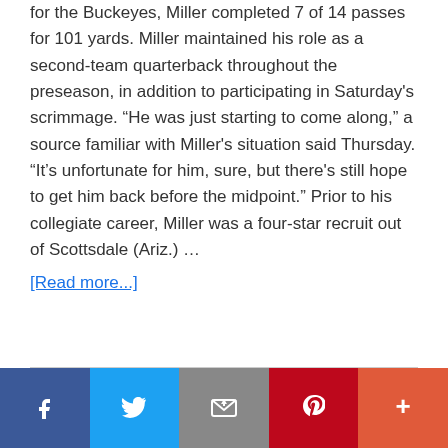for the Buckeyes, Miller completed 7 of 14 passes for 101 yards. Miller maintained his role as a second-team quarterback throughout the preseason, in addition to participating in Saturday's scrimmage. “He was just starting to come along,” a source familiar with Miller's situation said Thursday. “It’s unfortunate for him, sure, but there's still hope to get him back before the midpoint.” Prior to his collegiate career, Miller was a four-star recruit out of Scottsdale (Ariz.) …
[Read more...]
Social share buttons: Facebook, Twitter, Email, Pinterest, More